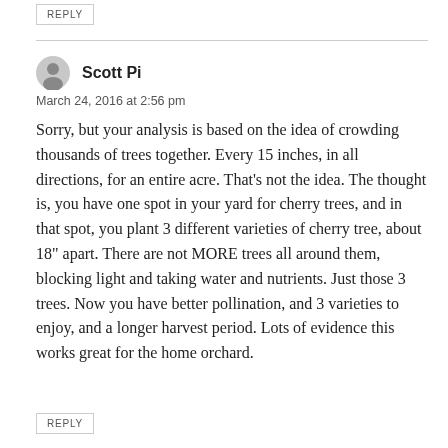REPLY
Scott Pi
March 24, 2016 at 2:56 pm
Sorry, but your analysis is based on the idea of crowding thousands of trees together. Every 15 inches, in all directions, for an entire acre. That’s not the idea. The thought is, you have one spot in your yard for cherry trees, and in that spot, you plant 3 different varieties of cherry tree, about 18" apart. There are not MORE trees all around them, blocking light and taking water and nutrients. Just those 3 trees. Now you have better pollination, and 3 varieties to enjoy, and a longer harvest period. Lots of evidence this works great for the home orchard.
REPLY